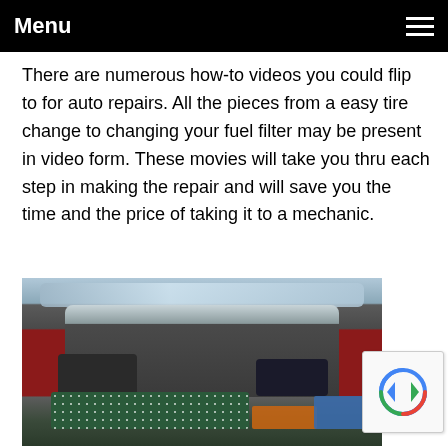Menu
There are numerous how-to videos you could flip to for auto repairs. All the pieces from a easy tire change to changing your fuel filter may be present in video form. These movies will take you thru each step in making the repair and will save you the time and the price of taking it to a mechanic.
[Figure (photo): Photo of the open trunk/boot of a red hatchback car loaded with luggage, a green polka-dot sleeping pad, bags, and other items, parked outdoors.]